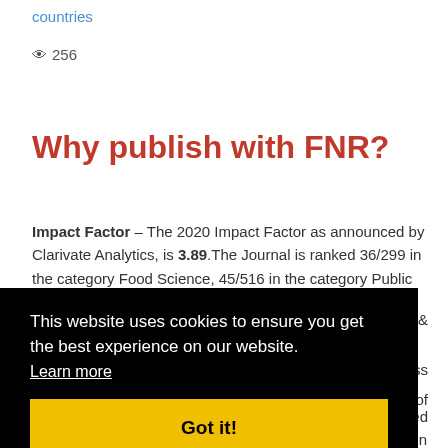countries
👁 256
Why publish with FNR?
Impact Factor – The 2020 Impact Factor as announced by Clarivate Analytics, is 3.89.The Journal is ranked 36/299 in the category Food Science, 45/516 in the category Public Health, ion & ...ccess h of ...ied in Food & Nutrition Research are automatically deposited in
This website uses cookies to ensure you get the best experience on our website. Learn more Got it!